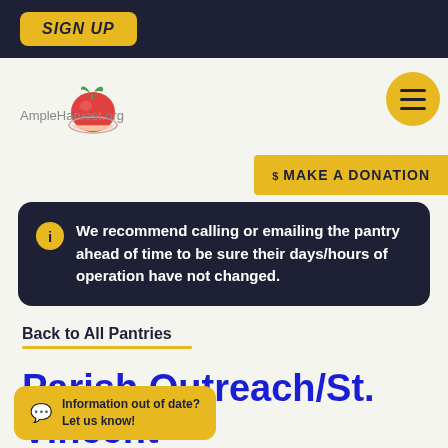SIGN UP
[Figure (logo): AmpleHarvest.org logo with tomato and hand graphic]
$ MAKE A DONATION
We recommend calling or emailing the pantry ahead of time to be sure their days/hours of operation have not changed.
Back to All Pantries
Parish Outreach/St. Vincent De Paul
Information out of date? Let us know!